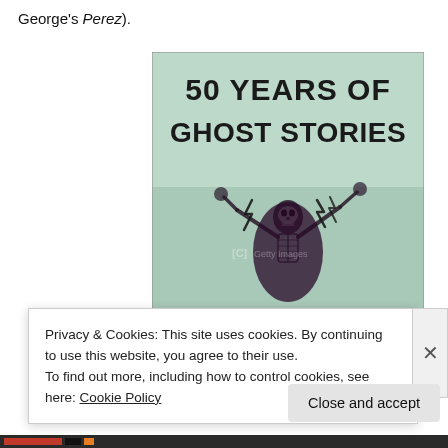George's Perez).
[Figure (illustration): Book cover of '50 YEARS OF GHOST STORIES' showing a skeleton figure with arms raised and lightning bolts on a green background.]
Privacy & Cookies: This site uses cookies. By continuing to use this website, you agree to their use.
To find out more, including how to control cookies, see here: Cookie Policy
Close and accept